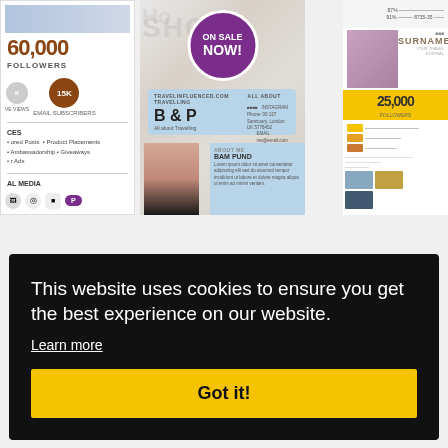[Figure (screenshot): Website screenshot showing influencer media kit templates. Left card shows '60,000 FOLLOWERS' with brown circular badge '15K', services list including 'Sponsored Posts', 'Ambassadership', 'Ads', 'Product Placements', 'Giveaways', and social media icons. Center card shows a purple circular badge with 'ON SALE NOW!' text, a blue card section with 'B & P' branding and a travel influencer media kit. Right card shows a woman's photo with 'SURNAME' text, '25,000' stat in yellow.]
This website uses cookies to ensure you get the best experience on our website.
Learn more
Got it!